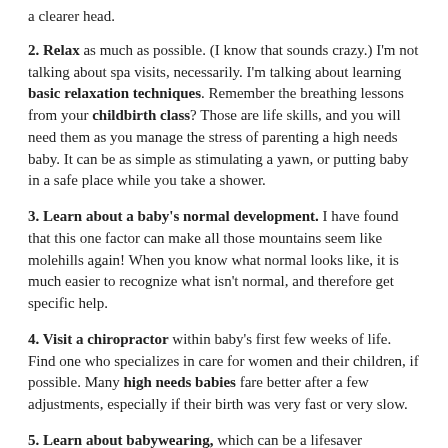a clearer head.
2. Relax as much as possible. (I know that sounds crazy.) I'm not talking about spa visits, necessarily. I'm talking about learning basic relaxation techniques. Remember the breathing lessons from your childbirth class? Those are life skills, and you will need them as you manage the stress of parenting a high needs baby. It can be as simple as stimulating a yawn, or putting baby in a safe place while you take a shower.
3. Learn about a baby's normal development. I have found that this one factor can make all those mountains seem like molehills again! When you know what normal looks like, it is much easier to recognize what isn't normal, and therefore get specific help.
4. Visit a chiropractor within baby's first few weeks of life. Find one who specializes in care for women and their children, if possible. Many high needs babies fare better after a few adjustments, especially if their birth was very fast or very slow.
5. Learn about babywearing, which can be a lifesaver